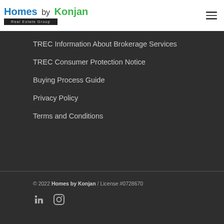[Figure (logo): Homes by Konjan Real Estate Group logo with hamburger menu icon]
TREC Information About Brokerage Services
TREC Consumer Protection Notice
Buying Process Guide
Privacy Policy
Terms and Conditions
© 2022 Homes by Konjan / License #0728670